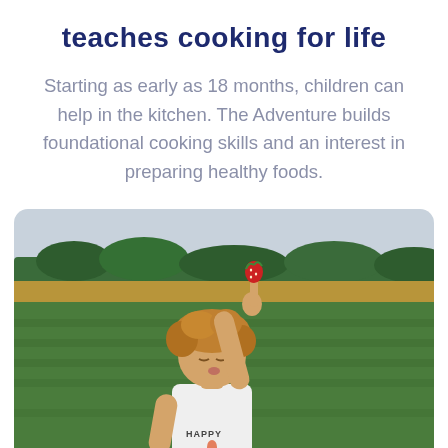teaches cooking for life
Starting as early as 18 months, children can help in the kitchen. The Adventure builds foundational cooking skills and an interest in preparing healthy foods.
[Figure (photo): A young toddler with curly hair wearing a white 'HAPPY' t-shirt standing in a green field, holding up a finger with a red strawberry on it. Trees and sky visible in the background.]